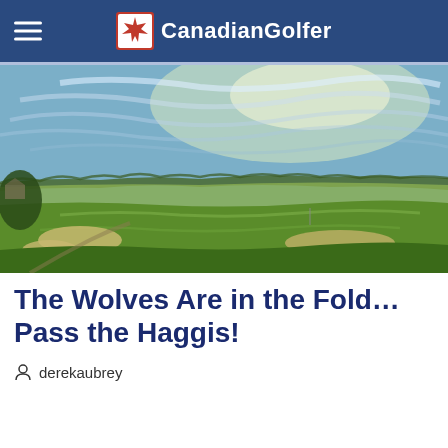CanadianGolfer
[Figure (photo): Wide landscape photograph of a golf course fairway with sand bunkers, lush green grass, a treeline on the horizon, and a dramatic cloudy sky with sunlight filtering through.]
The Wolves Are in the Fold...Pass the Haggis!
derekaubrey